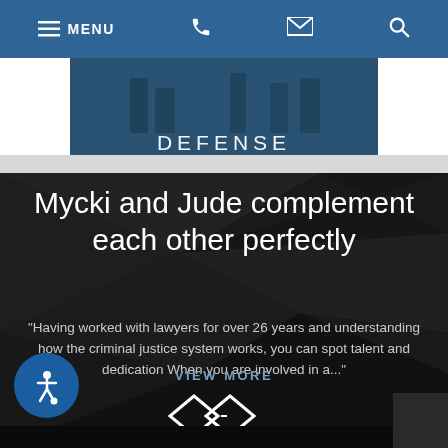MENU
[Figure (screenshot): Hero image with word DEFENSE overlaid on dark blue background with silhouettes]
Mycki and Jude complement each other perfectly
“Having worked with lawyers for over 26 years and understanding how the criminal justice system works, you can spot talent and dedication When you are involved in a...”
VIEW MORE
[Figure (other): Left and right navigation arrow icons]
[Figure (other): Accessibility wheelchair icon button]